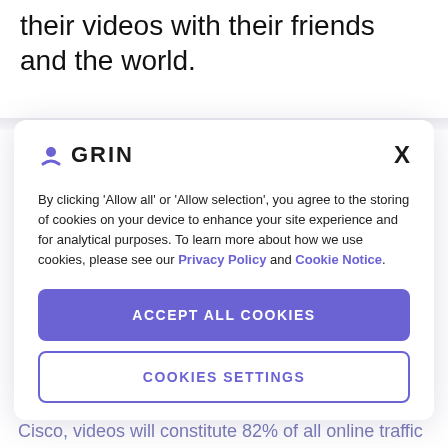their videos with their friends and the world.
[Figure (screenshot): GRIN cookie consent modal dialog with Accept All Cookies and Cookies Settings buttons]
Cisco, videos will constitute 82% of all online traffic